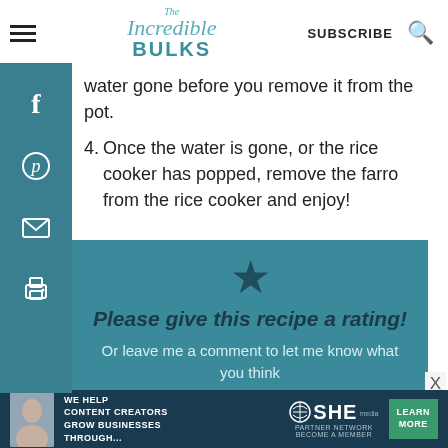The Incredible Bulks — SUBSCRIBE
water gone before you remove it from the pot.
4. Once the water is gone, or the rice cooker has popped, remove the farro from the rice cooker and enjoy!
Please give this recipe a rating!
Or leave me a comment to let me know what you think
[Figure (infographic): SHE Partner Network advertisement banner: We help content creators grow businesses through...]
WE HELP CONTENT CREATORS GROW BUSINESSES THROUGH... SHE PARTNER NETWORK BECOME A MEMBER LEARN MORE